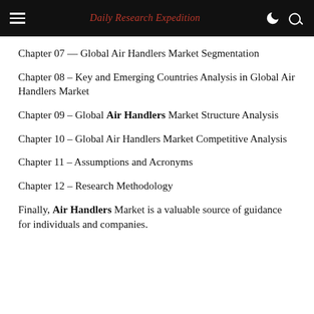Daily Research Expedition
Chapter 07 — Global Air Handlers Market Segmentation
Chapter 08 – Key and Emerging Countries Analysis in Global Air Handlers Market
Chapter 09 – Global Air Handlers Market Structure Analysis
Chapter 10 – Global Air Handlers Market Competitive Analysis
Chapter 11 – Assumptions and Acronyms
Chapter 12 – Research Methodology
Finally, Air Handlers Market is a valuable source of guidance for individuals and companies.